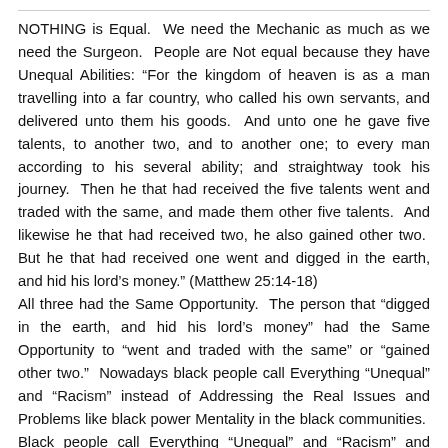NOTHING is Equal.  We need the Mechanic as much as we need the Surgeon.  People are Not equal because they have Unequal Abilities: “For the kingdom of heaven is as a man travelling into a far country, who called his own servants, and delivered unto them his goods.  And unto one he gave five talents, to another two, and to another one; to every man according to his several ability; and straightway took his journey.  Then he that had received the five talents went and traded with the same, and made them other five talents.  And likewise he that had received two, he also gained other two.  But he that had received one went and digged in the earth, and hid his lord’s money.” (Matthew 25:14-18)
All three had the Same Opportunity.  The person that “digged in the earth, and hid his lord’s money” had the Same Opportunity to “went and traded with the same” or “gained other two.”  Nowadays black people call Everything “Unequal” and “Racism” instead of Addressing the Real Issues and Problems like black power Mentality in the black communities.  Black people call Everything “Unequal” and “Racism” and Blame white people instead of Admitting to “digged in the earth, and hid his lord’s money.”  It is black people Parent’s Job to teach their children how to take Advantage of the Same Opportunity.  The “foster